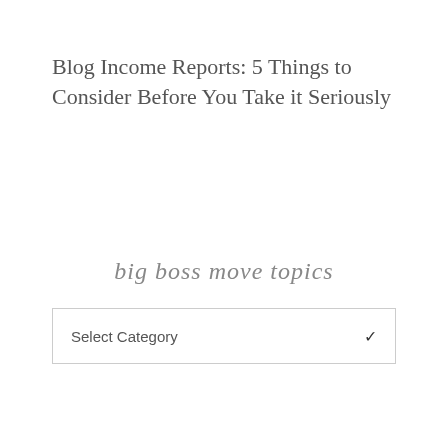Blog Income Reports: 5 Things to Consider Before You Take it Seriously
big boss move topics
Select Category